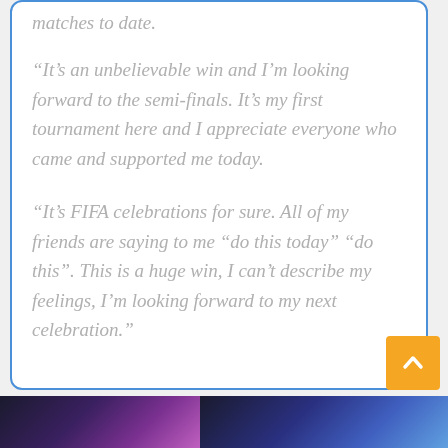matches to date.
“It’s an unbelievable win and I’m looking forward to the semi-finals. It’s my first tournament here and I appreciate everyone who came and supported me today.
“It’s FIFA celebrations for sure. All of my friends are saying to me “do this today” “do this”. This is a huge win, I can’t describe my feelings, I’m looking forward to my next celebration.”
[Figure (photo): Two dark/purple-toned photos at the bottom of the page, appearing to show event or concert scenes.]